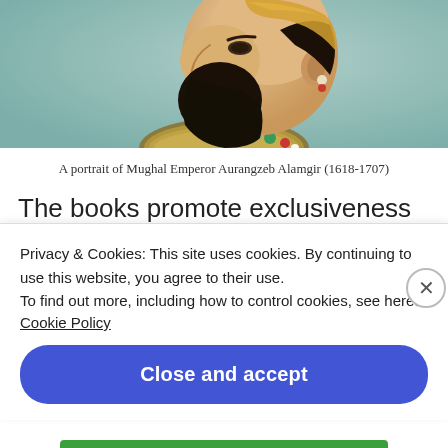[Figure (illustration): A portrait painting of Mughal Emperor Aurangzeb Alamgir in profile view, facing left, with a dark beard and wearing ornate golden collar with jeweled necklace, against a teal/green background.]
A portrait of Mughal Emperor Aurangzeb Alamgir (1618-1707)
The books promote exclusiveness of the Muslim community. M. K. Rabbani in his book which is prescribed
Privacy & Cookies: This site uses cookies. By continuing to use this website, you agree to their use.
To find out more, including how to control cookies, see here:
Cookie Policy
Close and accept